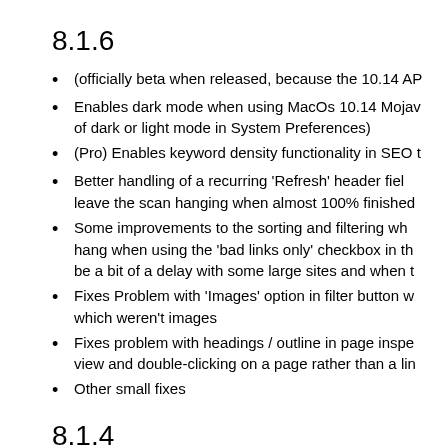8.1.6
(officially beta when released, because the 10.14 AP
Enables dark mode when using MacOs 10.14 Mojave of dark or light mode in System Preferences)
(Pro) Enables keyword density functionality in SEO t
Better handling of a recurring 'Refresh' header field leave the scan hanging when almost 100% finished
Some improvements to the sorting and filtering wh hang when using the 'bad links only' checkbox in th be a bit of a delay with some large sites and when t
Fixes Problem with 'Images' option in filter button w which weren't images
Fixes problem with headings / outline in page inspe view and double-clicking on a page rather than a lin
Other small fixes
8.1.4